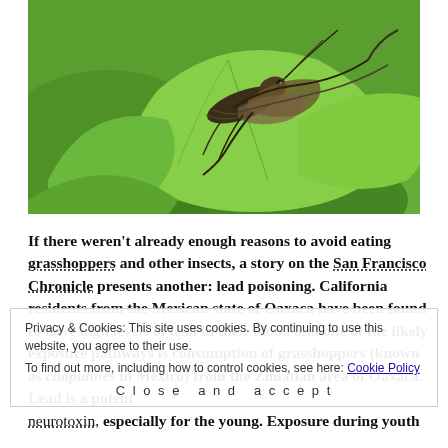[Figure (photo): Close-up photograph of a grasshopper perched on bright green leaves against a blurred green background]
If there weren't already enough reasons to avoid eating grasshoppers and other insects, a story on the San Francisco Chronicle presents another: lead poisoning. California residents from the Mexican state of Oaxaca have been found to have high levels of lead in their blood and one of the likely exposure pathways is consumption of grasshoppers (known as chapulines in Mexico) from the Zimatlan area of Oaxaca. Lead is a potent neurotoxin, especially for the young. Exposure during youth
Privacy & Cookies: This site uses cookies. By continuing to use this website, you agree to their use. To find out more, including how to control cookies, see here: Cookie Policy
Close and accept